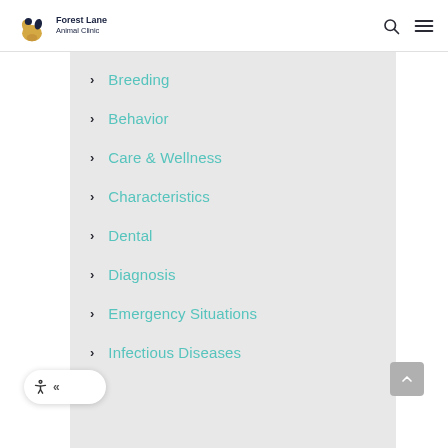Forest Lane Animal Clinic
Breeding
Behavior
Care & Wellness
Characteristics
Dental
Diagnosis
Emergency Situations
Infectious Diseases